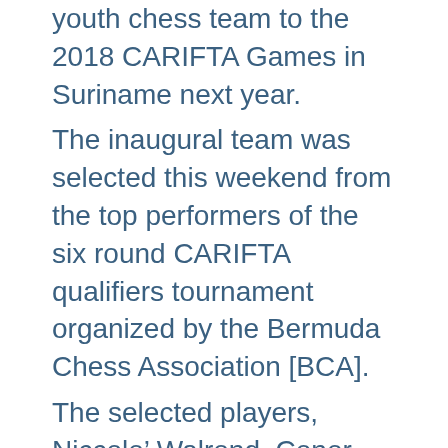youth chess team to the 2018 CARIFTA Games in Suriname next year. The inaugural team was selected this weekend from the top performers of the six round CARIFTA qualifiers tournament organized by the Bermuda Chess Association [BCA]. The selected players, Niccolo' Walrond, Conor Outerbridge, and Dimitri Gontcharov will be representing Bermuda in the three main age categories respectively; under 20, under 16, and under 12. “It is long overdue that we have our own team representing the island in chess, especially considering the passion many of our players have for the game,” said a spokesperson for